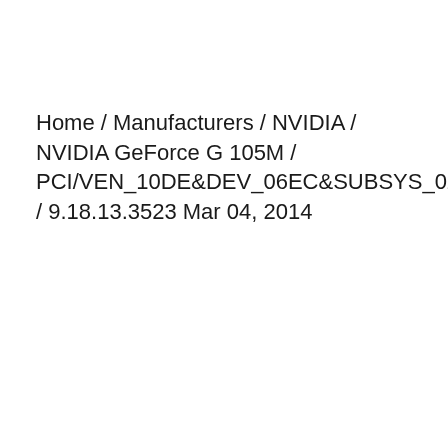Home / Manufacturers / NVIDIA / NVIDIA GeForce G 105M / PCI/VEN_10DE&DEV_06EC&SUBSYS_02051025 / 9.18.13.3523 Mar 04, 2014